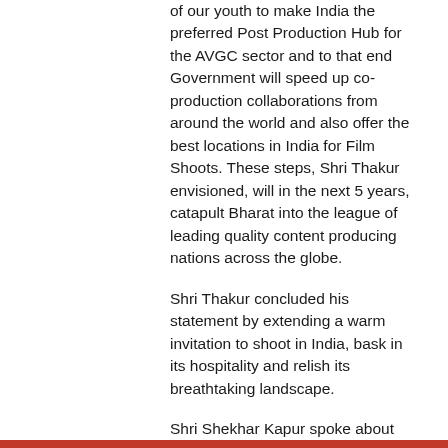of our youth to make India the preferred Post Production Hub for the AVGC sector and to that end Government will speed up co-production collaborations from around the world and also offer the best locations in India for Film Shoots. These steps, Shri Thakur envisioned, will in the next 5 years, catapult Bharat into the league of leading quality content producing nations across the globe.
Shri Thakur concluded his statement by extending a warm invitation to shoot in India, bask in its hospitality and relish its breathtaking landscape.
Shri Shekhar Kapur spoke about the effect of access to cheap broadband and mobile devices having a disruptive effect on movie industry and said that India is about to become the world’s biggest ‘influencer economy’ and that cinema will soon be redefined by the young filmmakers.
India is a pool of restless dreams, dreams that are restless to make it big, of looking forward, added Shri Prasoon Joshi to the comment of Shri Shekhar Kapur.